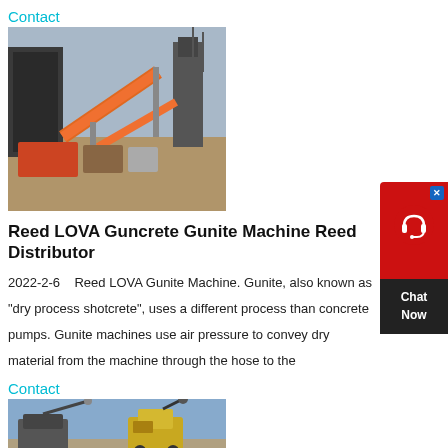Contact
[Figure (photo): Industrial mining or crushing plant with orange conveyor belts and heavy machinery]
Reed LOVA Guncrete Gunite Machine Reed Distributor
2022-2-6    Reed LOVA Gunite Machine. Gunite, also known as “dry process shotcrete”, uses a different process than concrete pumps. Gunite machines use air pressure to convey dry material from the machine through the hose to the
Contact
[Figure (photo): Industrial machinery with crane or lifting equipment against blue sky]